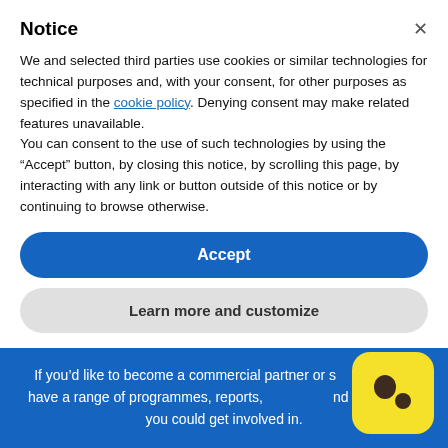Notice
We and selected third parties use cookies or similar technologies for technical purposes and, with your consent, for other purposes as specified in the cookie policy. Denying consent may make related features unavailable.
You can consent to the use of such technologies by using the “Accept” button, by closing this notice, by scrolling this page, by interacting with any link or button outside of this notice or by continuing to browse otherwise.
Accept
Learn more and customize
If you’d like to become a commercial partner or s… we have a range of programmes, reports, … and campaigns you could get involved in.
[Figure (logo): Yellow rounded square logo with dark brown dot/circle marks inside]